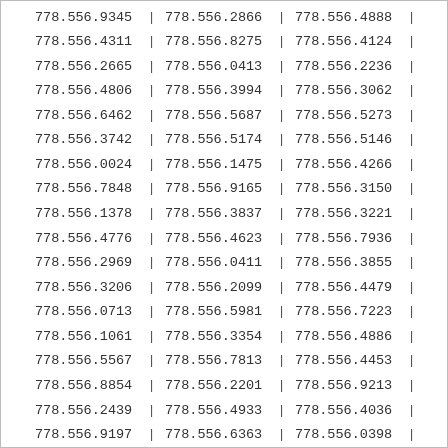| 778.556.9345 | | | 778.556.2866 | | | 778.556.4888 | | |
| 778.556.4311 | | | 778.556.8275 | | | 778.556.4124 | | |
| 778.556.2665 | | | 778.556.0413 | | | 778.556.2236 | | |
| 778.556.4806 | | | 778.556.3994 | | | 778.556.3062 | | |
| 778.556.6462 | | | 778.556.5687 | | | 778.556.5273 | | |
| 778.556.3742 | | | 778.556.5174 | | | 778.556.5146 | | |
| 778.556.0024 | | | 778.556.1475 | | | 778.556.4266 | | |
| 778.556.7848 | | | 778.556.9165 | | | 778.556.3150 | | |
| 778.556.1378 | | | 778.556.3837 | | | 778.556.3221 | | |
| 778.556.4776 | | | 778.556.4623 | | | 778.556.7936 | | |
| 778.556.2969 | | | 778.556.0411 | | | 778.556.3855 | | |
| 778.556.3206 | | | 778.556.2099 | | | 778.556.4479 | | |
| 778.556.0713 | | | 778.556.5981 | | | 778.556.7223 | | |
| 778.556.1061 | | | 778.556.3354 | | | 778.556.4886 | | |
| 778.556.5567 | | | 778.556.7813 | | | 778.556.4453 | | |
| 778.556.8854 | | | 778.556.2201 | | | 778.556.9213 | | |
| 778.556.2439 | | | 778.556.4933 | | | 778.556.4036 | | |
| 778.556.9197 | | | 778.556.6363 | | | 778.556.0398 | | |
| 778.556.3358 | | | 778.556.8555 | | | 778.556.8966 |  |